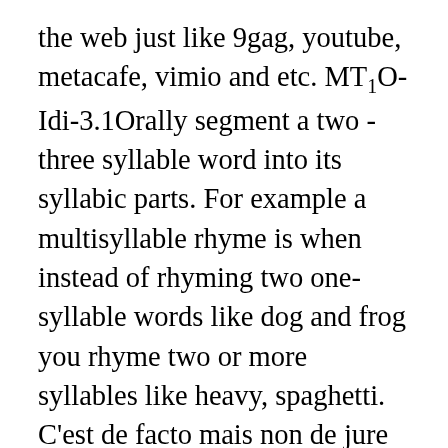the web just like 9gag, youtube, metacafe, vimio and etc. MT1O-Idi-3.1Orally segment a two -three syllable word into its syllabic parts. For example a multisyllable rhyme is when instead of rhyming two one-syllable words like dog and frog you rhyme two or more syllables like heavy, spaghetti. C'est de facto mais non de jure la base du philippin, langue officielle – avec l'anglais entre autres – de la République des Philippines. MT1OL-Id MT1O-Ibi-4.1Recite and sing in groups familiar rhymes and songs. Since the website has been launching, tens of thousands of